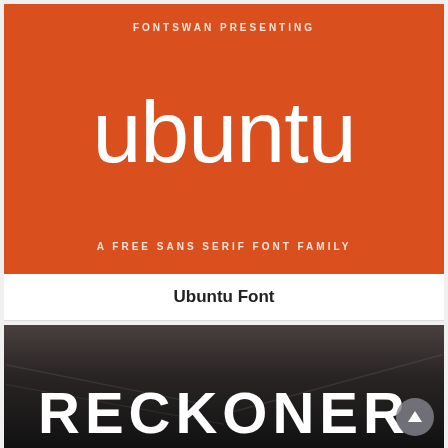[Figure (illustration): Orange background promotional card for Ubuntu Font with text 'FONTSWAN PRESENTING' at top, large 'ubuntu' text in center, and 'A FREE SANS SERIF FONT FAMILY' at bottom]
Ubuntu Font
[Figure (photo): Dark background promotional image with large white text 'RECKONER' partially visible at the bottom, dark industrial scene in background, with a scroll-up arrow button in bottom right]